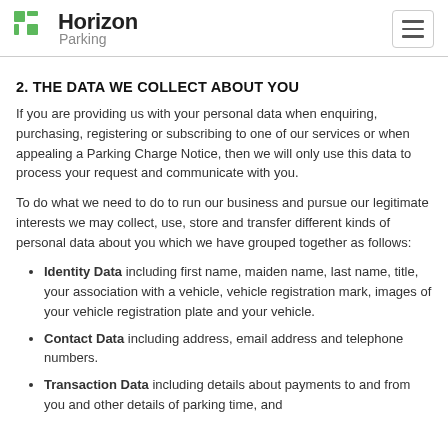Horizon Parking
2. THE DATA WE COLLECT ABOUT YOU
If you are providing us with your personal data when enquiring, purchasing, registering or subscribing to one of our services or when appealing a Parking Charge Notice, then we will only use this data to process your request and communicate with you.
To do what we need to do to run our business and pursue our legitimate interests we may collect, use, store and transfer different kinds of personal data about you which we have grouped together as follows:
Identity Data including first name, maiden name, last name, title, your association with a vehicle, vehicle registration mark, images of your vehicle registration plate and your vehicle.
Contact Data including address, email address and telephone numbers.
Transaction Data including details about payments to and from you and other details of parking time, and